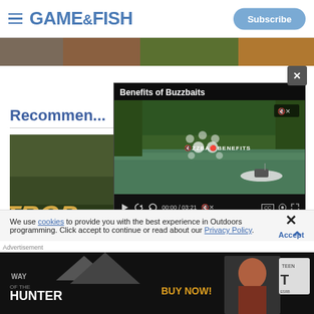GAME&FISH | Subscribe
[Figure (screenshot): Top banner strip with outdoor/hunting imagery]
Recommen...
[Figure (screenshot): Thumbnail image with bold italic text 'TROP' over tropical outdoor scene]
[Figure (screenshot): Video overlay: 'Benefits of Buzzbaits' video player showing river fishing scene with boat, video controls showing 00:00 / 03:21]
We use cookies to provide you with the best experience in Outdoors programming. Click accept to continue or read about our Privacy Policy.
[Figure (screenshot): Advertisement banner: Way of the Hunter - BUY NOW! with TEEN ESRB rating]